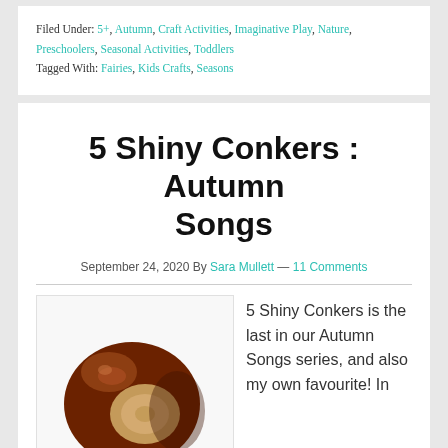Filed Under: 5+, Autumn, Craft Activities, Imaginative Play, Nature, Preschoolers, Seasonal Activities, Toddlers
Tagged With: Fairies, Kids Crafts, Seasons
5 Shiny Conkers : Autumn Songs
September 24, 2020 By Sara Mullett — 11 Comments
[Figure (photo): A shiny brown conker (horse chestnut) on a white background, showing its characteristic brown shell with a lighter tan patch on one side.]
5 Shiny Conkers is the last in our Autumn Songs series, and also my own favourite! In